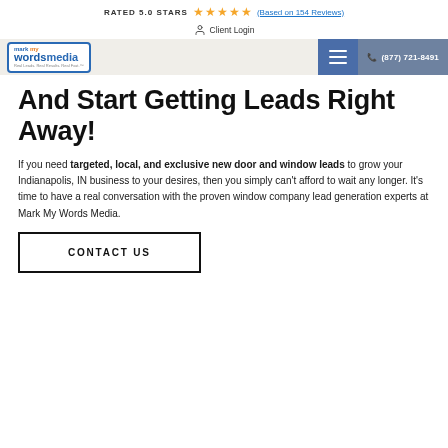RATED 5.0 STARS (Based on 154 Reviews)
Client Login
[Figure (logo): Mark My Words Media logo with blue border and tagline]
And Start Getting Leads Right Away!
If you need targeted, local, and exclusive new door and window leads to grow your Indianapolis, IN business to your desires, then you simply can't afford to wait any longer. It's time to have a real conversation with the proven window company lead generation experts at Mark My Words Media.
CONTACT US